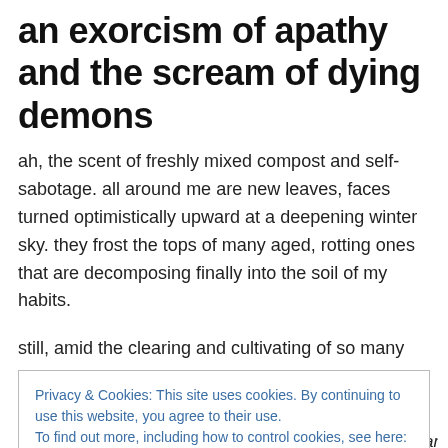an exorcism of apathy and the scream of dying demons
ah, the scent of freshly mixed compost and self-sabotage. all around me are new leaves, faces turned optimistically upward at a deepening winter sky. they frost the tops of many aged, rotting ones that are decomposing finally into the soil of my habits.
still, amid the clearing and cultivating of so many
Privacy & Cookies: This site uses cookies. By continuing to use this website, you agree to their use. To find out more, including how to control cookies, see here: Cookie Policy
contrary, how does your garden grow? with silvery dreams